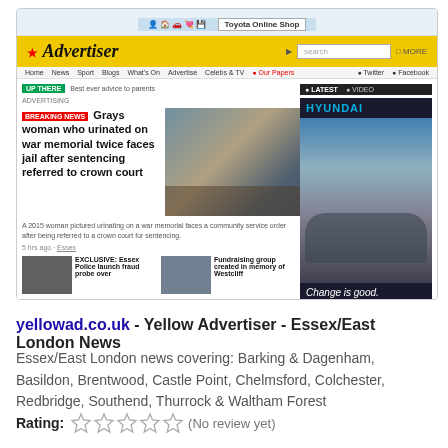[Figure (screenshot): Screenshot of yellowad.co.uk - Yellow Advertiser news website showing a breaking news headline about a Grays woman who urinated on a war memorial, with navigation, header, and a Hyundai advertisement in the sidebar.]
yellowad.co.uk - Yellow Advertiser - Essex/East London News
Essex/East London news covering: Barking & Dagenham, Basildon, Brentwood, Castle Point, Chelmsford, Colchester, Redbridge, Southend, Thurrock & Waltham Forest
Rating: (No review yet)